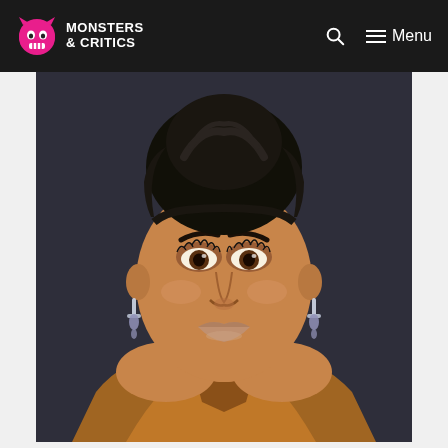Monsters & Critics — Navigation bar with logo, search, and menu
[Figure (photo): Close-up portrait photo of a Black woman with hair styled in a high bun, dramatic eye makeup with long lashes, wearing dangling crystal earrings and a bronze/gold satin top, against a dark gray background.]